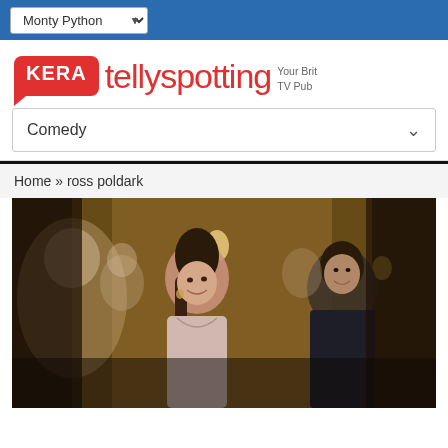Monty Python
[Figure (logo): KERA Tellyspotting Your Brit TV Pub logo]
Comedy
Home » ross poldark
[Figure (photo): Scene from Poldark: a woman in period costume with braided hair smiling, a man behind her, at an indoor gathering with candlelight]